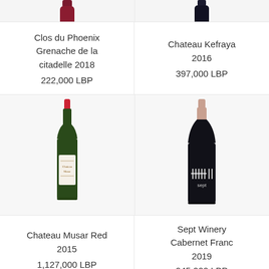[Figure (photo): Partial top view of two wine bottles cropped at top]
Clos du Phoenix Grenache de la citadelle 2018
222,000 LBP
Chateau Kefraya 2016
397,000 LBP
[Figure (photo): Chateau Musar Red wine bottle with white label]
[Figure (photo): Sept Winery dark bottle with tally marks logo]
Chateau Musar Red 2015
1,127,000 LBP
Sept Winery Cabernet Franc 2019
945,000 LBP
[Figure (photo): Partial bottom view of two wine bottles]
Loyalty